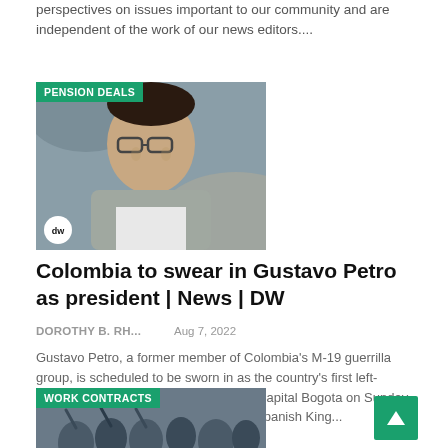perspectives on issues important to our community and are independent of the work of our news editors....
[Figure (photo): Photo of Gustavo Petro with a green PENSION DEALS badge overlay and DW logo watermark]
Colombia to swear in Gustavo Petro as president | News | DW
DOROTHY B. RH...   Aug 7, 2022
Gustavo Petro, a former member of Colombia's M-19 guerrilla group, is scheduled to be sworn in as the country's first left-leaning president at a ceremony in the capital Bogota on Sunday. Around 100,000 people, including the Spanish King...
[Figure (photo): Photo of people saluting with a green WORK CONTRACTS badge overlay]
[Figure (other): Green scroll-to-top arrow button in the bottom right corner]